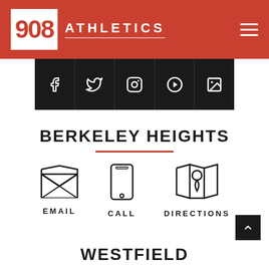908 ATHLETICS
[Figure (infographic): Social media icons bar: Facebook, Twitter, Instagram, YouTube, Gallery on black background]
BERKELEY HEIGHTS
[Figure (infographic): Three contact icons: Email (envelope), Call (phone), Directions (map pin) with labels EMAIL, CALL, DIRECTIONS]
WESTFIELD